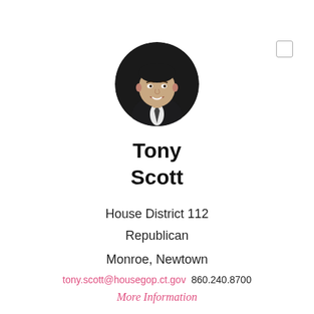[Figure (photo): Circular headshot photo of Tony Scott, a man in a dark suit and tie, smiling, against a dark background]
Tony Scott
House District 112
Republican
Monroe, Newtown
tony.scott@housegop.ct.gov  860.240.8700
More Information